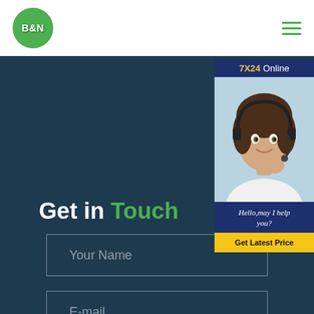[Figure (logo): B&N logo — green circle with white bold text B&N]
[Figure (infographic): Hamburger menu icon with three green horizontal lines]
[Figure (photo): Chat support widget showing '7X24 Online', photo of smiling woman with headset, message 'Hello,may I help you?' and yellow 'Get Latest Price' button]
Get in Touch
Your Name
E-mail